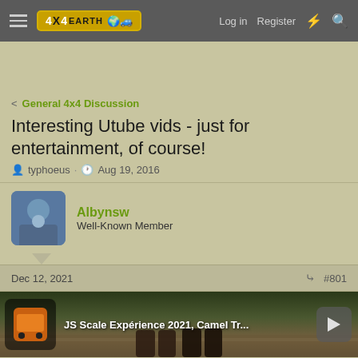4X4EARTH | Log in | Register
General 4x4 Discussion
Interesting Utube vids - just for entertainment, of course!
typhoeus · Aug 19, 2016
Albynsw
Well-Known Member
Dec 12, 2021 #801
[Figure (screenshot): Video thumbnail showing JS Scale Expérience 2021, Camel Tr... with outdoor scene of feet/boots and a toy 4x4 vehicle icon]